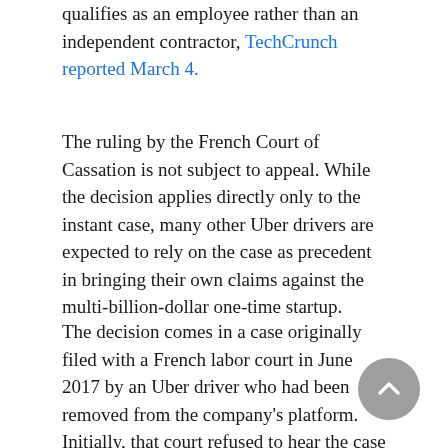qualifies as an employee rather than an independent contractor, TechCrunch reported March 4.
The ruling by the French Court of Cassation is not subject to appeal. While the decision applies directly only to the instant case, many other Uber drivers are expected to rely on the case as precedent in bringing their own claims against the multi-billion-dollar one-time startup.
The decision comes in a case originally filed with a French labor court in June 2017 by an Uber driver who had been removed from the company's platform. Initially, that court refused to hear the case on the basis that it did not involve a relationship between an employee and an employer, but rather between a business and a self-employed partner.